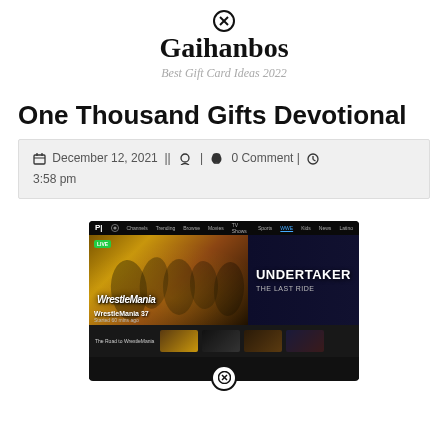Gaihanbos — Best Gift Card Ideas 2022
One Thousand Gifts Devotional
December 12, 2021 || [author icon] | [comment icon] 0 Comment | [clock icon] 3:58 pm
[Figure (screenshot): Screenshot of Peacock streaming service showing WrestleMania 37 live stream and Undertaker: The Last Ride promotion]